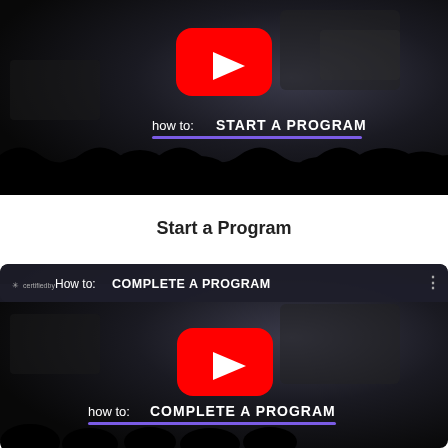[Figure (screenshot): YouTube video thumbnail for 'how to: START A PROGRAM' with red play button on dark background and purple underline]
Start a Program
[Figure (screenshot): YouTube video thumbnail for 'How to: COMPLETE A PROGRAM' with channel branding, red play button on dark background and purple underline]